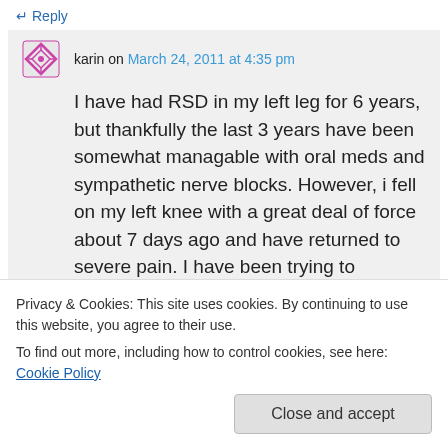↵ Reply
karin on March 24, 2011 at 4:35 pm
I have had RSD in my left leg for 6 years, but thankfully the last 3 years have been somewhat managable with oral meds and sympathetic nerve blocks. However, i fell on my left knee with a great deal of force about 7 days ago and have returned to severe pain. I have been trying to research information of a link I could go. I have no
Privacy & Cookies: This site uses cookies. By continuing to use this website, you agree to their use.
To find out more, including how to control cookies, see here: Cookie Policy
Close and accept